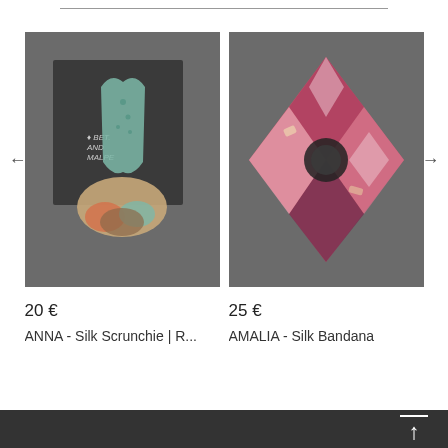[Figure (photo): Product photo of ANNA Silk Scrunchie in box with brand logo, on dark grey background]
20 €
ANNA - Silk Scrunchie | R...
[Figure (photo): Product photo of AMALIA Silk Bandana in pink/rose floral pattern, on dark grey background]
25 €
AMALIA - Silk Bandana